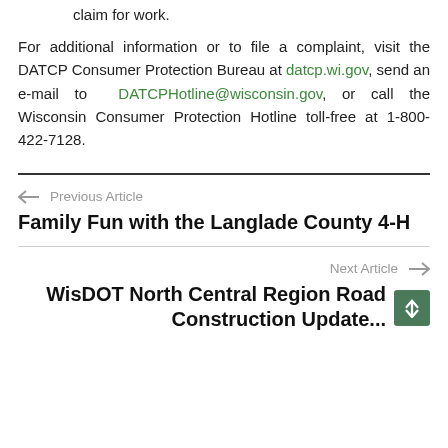claim for work.
For additional information or to file a complaint, visit the DATCP Consumer Protection Bureau at datcp.wi.gov, send an e-mail to DATCPHotline@wisconsin.gov, or call the Wisconsin Consumer Protection Hotline toll-free at 1-800-422-7128.
← Previous Article
Family Fun with the Langlade County 4-H
Next Article →
WisDOT North Central Region Road Construction Update...